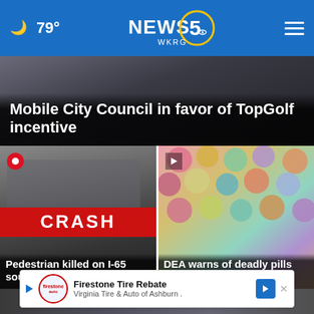☁ 79° NEWS 5 WKRG
Mobile City Council in favor of TopGolf incentive
[Figure (photo): News card with car crash image and CRASH banner overlay. Title: Pedestrian killed on I-65 southbound, 1 lan...]
[Figure (photo): News card with colorful pills image. Title: DEA warns of deadly pills made to l×k ...]
Firestone Tire Rebate - Virginia Tire & Auto of Ashburn .